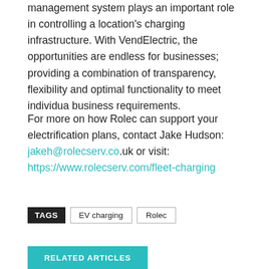management system plays an important role in controlling a location's charging infrastructure. With VendElectric, the opportunities are endless for businesses; providing a combination of transparency, flexibility and optimal functionality to meet individua business requirements.
For more on how Rolec can support your electrification plans, contact Jake Hudson: jakeh@rolecserv.co.uk or visit: https://www.rolecserv.com/fleet-charging
TAGS  EV charging  Rolec
RELATED ARTICLES